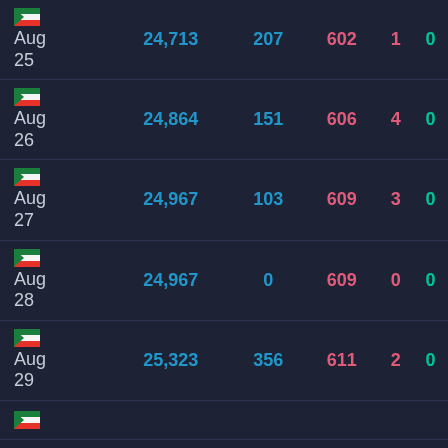| Date | Total Cases | New Cases | Total Deaths | New Deaths | Recovered |
| --- | --- | --- | --- | --- | --- |
| Aug 25 | 24,713 | 207 | 602 | 1 | 0 |
| Aug 26 | 24,864 | 151 | 606 | 4 | 0 |
| Aug 27 | 24,967 | 103 | 609 | 3 | 0 |
| Aug 28 | 24,967 | 0 | 609 | 0 | 0 |
| Aug 29 | 25,323 | 356 | 611 | 2 | 0 |